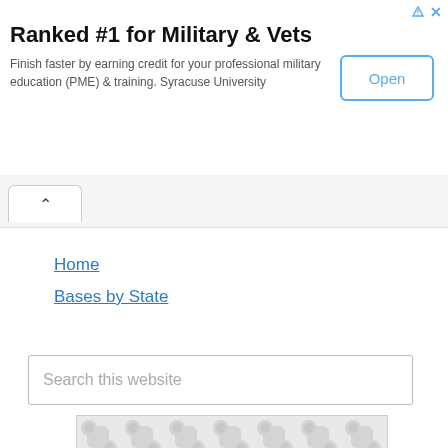[Figure (screenshot): Advertisement banner: Ranked #1 for Military & Vets with Open button]
Ranked #1 for Military & Vets
Finish faster by earning credit for your professional military education (PME) & training. Syracuse University
Home
Bases by State
Search this website
[Figure (illustration): Placeholder image with repeating decorative pattern in light gray]